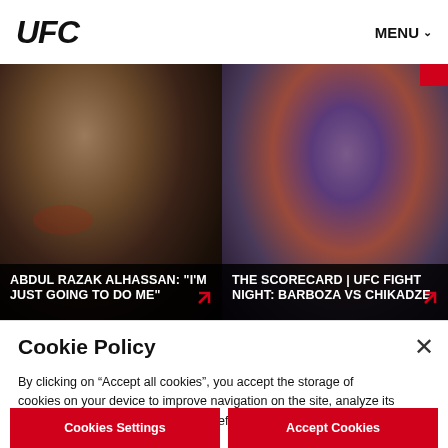UFC MENU
[Figure (photo): UFC fighter Abdul Razak Alhassan yelling with mouth open, dark background]
ABDUL RAZAK ALHASSAN: “I’M JUST GOING TO DO ME”
[Figure (photo): UFC fight training scene with fighters in red and blue gear, Barboza vs Chikadze]
THE SCORECARD | UFC FIGHT NIGHT: BARBOZA VS CHIKADZE
Cookie Policy
By clicking on “Accept all cookies”, you accept the storage of cookies on your device to improve navigation on the site, analyze its use and contribute to our marketing efforts. Cookie Policy
Cookies Settings
Accept Cookies